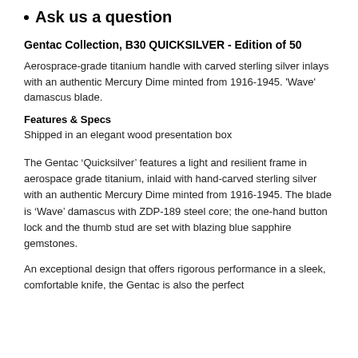Ask us a question
Gentac Collection, B30 QUICKSILVER - Edition of 50
Aerosprace-grade titanium handle with carved sterling silver inlays with an authentic Mercury Dime minted from 1916-1945. 'Wave' damascus blade.
Features & Specs
Shipped in an elegant wood presentation box
The Gentac ‘Quicksilver’ features a light and resilient frame in aerospace grade titanium, inlaid with hand-carved sterling silver with an authentic Mercury Dime minted from 1916-1945. The blade is ‘Wave’ damascus with ZDP-189 steel core; the one-hand button lock and the thumb stud are set with blazing blue sapphire gemstones.
An exceptional design that offers rigorous performance in a sleek, comfortable knife, the Gentac is also the perfect